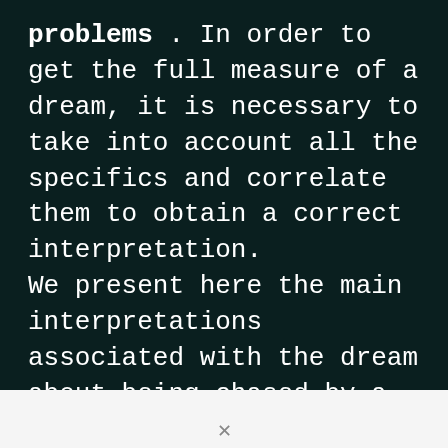problems . In order to get the full measure of a dream, it is necessary to take into account all the specifics and correlate them to obtain a correct interpretation. We present here the main interpretations associated with the dream about being chased by a cow :